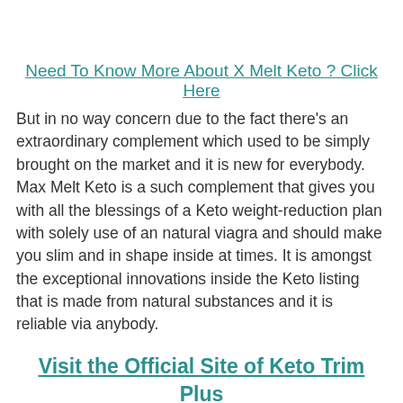Need To Know More About X Melt Keto ? Click Here
But in no way concern due to the fact there's an extraordinary complement which used to be simply brought on the market and it is new for everybody. Max Melt Keto is a such complement that gives you with all the blessings of a Keto weight-reduction plan with solely use of an natural viagra and should make you slim and in shape inside at times. It is amongst the exceptional innovations inside the Keto listing that is made from natural substances and it is reliable via anybody.
Visit the Official Site of Keto Trim Plus [Up to 70% Discount Available Here]